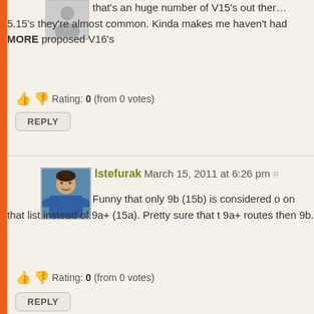that's an huge number of V15's out there... with the 5.15's they're almost common. Kinda makes me wonder we haven't had MORE proposed V16's
Rating: 0 (from 0 votes)
REPLY
lstefurak March 15, 2011 at 6:26 pm #
Funny that only 9b (15b) is considered on that list instead of 9a+ (15a). Pretty sure that there are more 9a+ routes then 9b.
Rating: 0 (from 0 votes)
REPLY